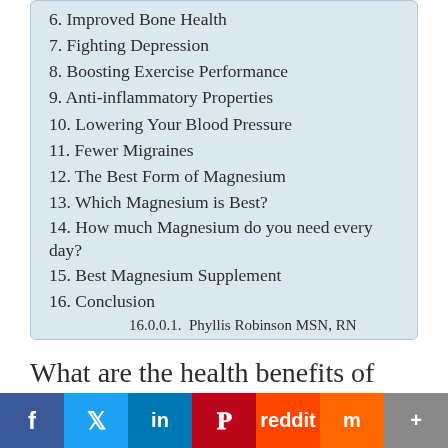6. Improved Bone Health
7. Fighting Depression
8. Boosting Exercise Performance
9. Anti-inflammatory Properties
10. Lowering Your Blood Pressure
11. Fewer Migraines
12. The Best Form of Magnesium
13. Which Magnesium is Best?
14. How much Magnesium do you need every day?
15. Best Magnesium Supplement
16. Conclusion
16.0.0.1.  Phyllis Robinson MSN, RN
What are the health benefits of